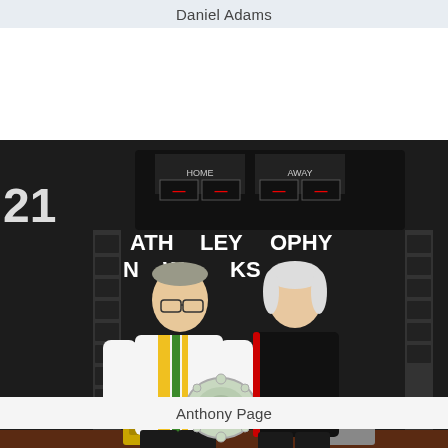Daniel Adams
[Figure (photo): Two people standing indoors in front of a scoreboard showing 'HOME' and 'AWAY' and a banner reading 'ATHELEY TROPHY ... WORKS'. The man on the left wears a white, yellow and green polo shirt and black trousers; he holds a silver trophy plate. The woman on the right wears a black polo shirt with red trim and black trousers. Several trophies are visible on a shelf behind them.]
Anthony Page